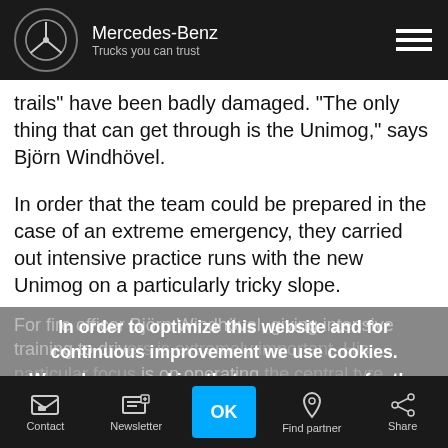Mercedes-Benz — Trucks you can trust
trails" have been badly damaged. "The only thing that can get through is the Unimog," says Björn Windhövel.
In order that the team could be prepared in the case of an extreme emergency, they carried out intensive practice runs with the new Unimog on a particularly tricky slope.
For fire officer Björn Windhövel, giving intensive training to drivers is extremely important. His particular focus is on operating the central tyre pressure control system, which makes it possible to reduce a few bars less could mean the difference between treaded tyres. The air cleats press into the forest floor and the traction
In order to optimize this website and for continuous improvement we use cookies.
We only use cookies that are necessary for the basic functions of this website.
For more information, please refer to our Cookie Statement.
Contact | Newsletter | OK | Find partner | Share